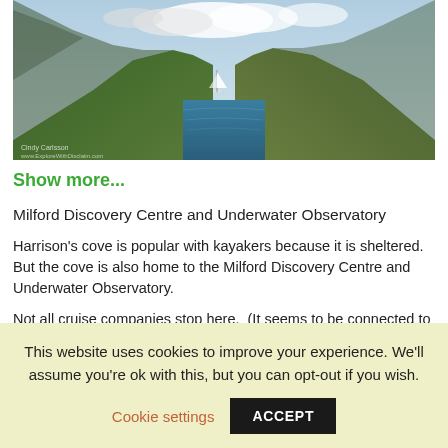[Figure (photo): Scenic fjord photograph showing steep rocky mountains covered in vegetation on both sides, a calm blue-green waterway in the center, a sailboat in the distance, and cloudy sky. Small watermark text at bottom-left reads: 'Cindy Carloson' and a website URL.]
Show more...
Milford Discovery Centre and Underwater Observatory
Harrison's cove is popular with kayakers because it is sheltered. But the cove is also home to the Milford Discovery Centre and Underwater Observatory.
Not all cruise companies stop here.  (It seems to be connected to Southern Discoveries↗, although some others use it too.) I wanted to visit it because rare black coral (usually a very deep-water species)
This website uses cookies to improve your experience. We'll assume you're ok with this, but you can opt-out if you wish.
Cookie settings  ACCEPT